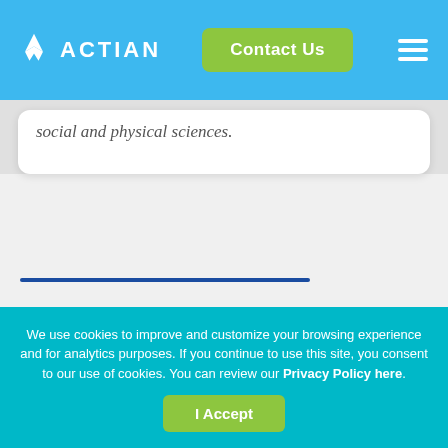ACTIAN | Contact Us
social and physical sciences.
"By using Actian EMA+ during the upgrade, we were able to monitor the whole environment and identify and resolve issues with performance
We use cookies to improve and customize your browsing experience and for analytics purposes. If you continue to use this site, you consent to our use of cookies. You can review our Privacy Policy here.
I Accept